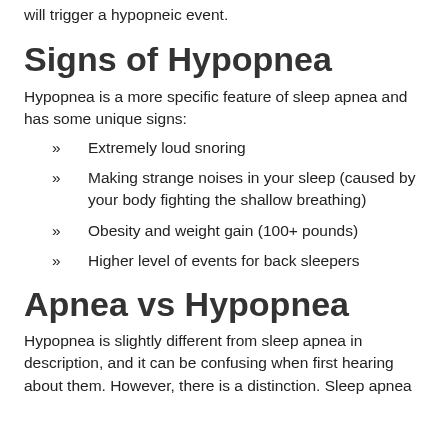will trigger a hypopneic event.
Signs of Hypopnea
Hypopnea is a more specific feature of sleep apnea and has some unique signs:
Extremely loud snoring
Making strange noises in your sleep (caused by your body fighting the shallow breathing)
Obesity and weight gain (100+ pounds)
Higher level of events for back sleepers
Apnea vs Hypopnea
Hypopnea is slightly different from sleep apnea in description, and it can be confusing when first hearing about them. However, there is a distinction. Sleep apnea